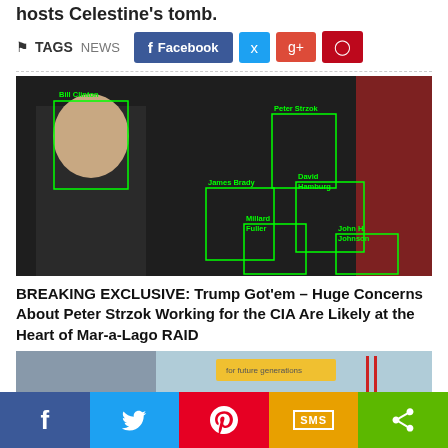hosts Celestine's tomb.
TAGS NEWS
[Figure (photo): Group photo with face detection bounding boxes labeled: Bill Clinton, Peter Strzok, James Brady, David Hamburg, Millard Fuller, John H. Johnson]
BREAKING EXCLUSIVE: Trump Got'em – Huge Concerns About Peter Strzok Working for the CIA Are Likely at the Heart of Mar-a-Lago RAID
[Figure (photo): Partial view of a second article photo]
f [Facebook] [Twitter/Bird] [Pinterest] SMS [Share]